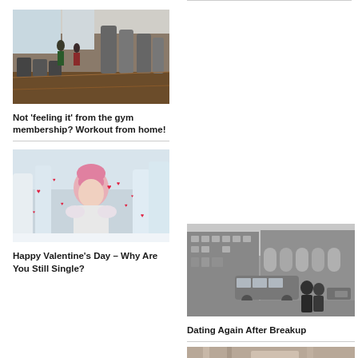[Figure (photo): Gym interior with exercise machines and treadmills, people working out in background]
Not ‘feeling it’ from the gym membership? Workout from home!
[Figure (photo): Woman in pink hat blowing hearts in snowy winter scene, Valentine's Day themed]
Happy Valentine’s Day – Why Are You Still Single?
[Figure (photo): Black and white photo of couple looking at building on city street with bus]
Dating Again After Breakup
[Figure (photo): Partial view of another article image at bottom right]